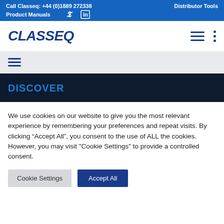Call Classeq: +44 (0)1889 272338   Distributor Tools   Product Manuals
[Figure (logo): CLASSEQ company logo in dark blue bold italic text]
DISCOVER
We use cookies on our website to give you the most relevant experience by remembering your preferences and repeat visits. By clicking “Accept All”, you consent to the use of ALL the cookies. However, you may visit "Cookie Settings" to provide a controlled consent.
Cookie Settings   Accept All